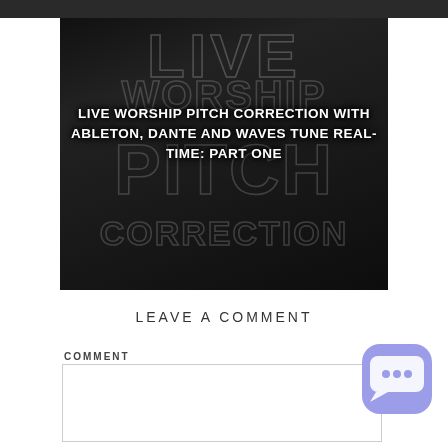[Figure (photo): Dark background image with large outlined text reading LIVE WORSHIP PITCH CORRECTION. An overlay title reads: LIVE WORSHIP PITCH CORRECTION WITH ABLETON, DANTE AND WAVES TUNE REAL-TIME: PART ONE]
LEAVE A COMMENT
COMMENT
[Figure (illustration): Purple/blue rounded square chat bubble icon with three dots inside]